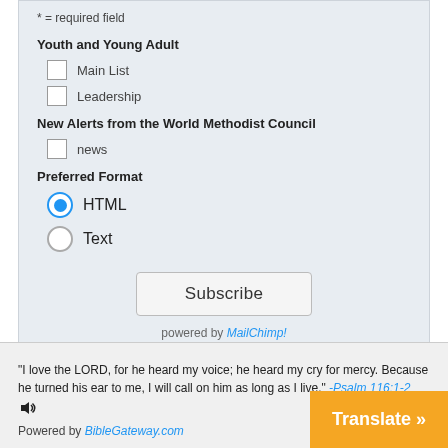* = required field
Youth and Young Adult
Main List
Leadership
New Alerts from the World Methodist Council
news
Preferred Format
HTML (selected)
Text
Subscribe
powered by MailChimp!
"I love the LORD, for he heard my voice; he heard my cry for mercy. Because he turned his ear to me, I will call on him as long as I live." -Psalm 116:1-2
Powered by BibleGateway.com